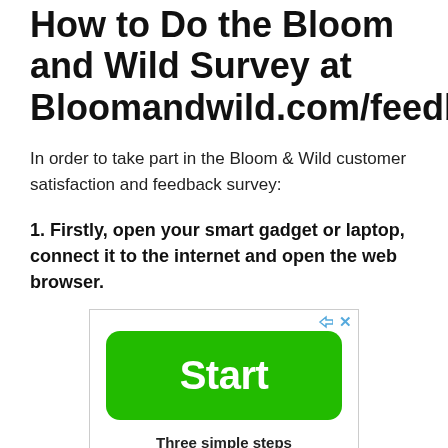How to Do the Bloom and Wild Survey at Bloomandwild.com/feedback
In order to take part in the Bloom & Wild customer satisfaction and feedback survey:
1. Firstly, open your smart gadget or laptop, connect it to the internet and open the web browser.
[Figure (screenshot): Advertisement box with a green 'Start' button and text 'Three simple steps' below it, with ad controls (play and close icons) in the top right corner.]